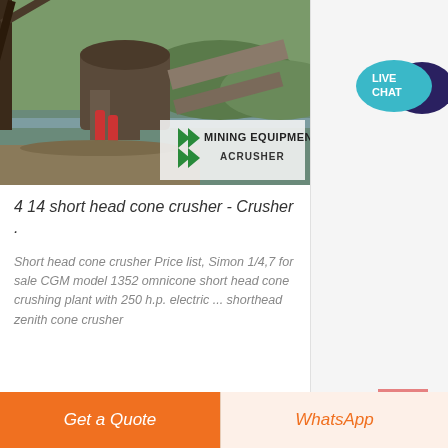[Figure (photo): Mining equipment - cone crusher machinery at a site, with industrial equipment, conveyor belts, and a waterway in the background. Overlay shows 'MINING EQUIPMENT ACRUSHER' logo with green chevron marks.]
4 14 short head cone crusher - Crusher .
Short head cone crusher Price list, Simon 1/4,7 for sale CGM model 1352 omnicone short head cone crushing plant with 250 h.p. electric ... shorthead zenith cone crusher